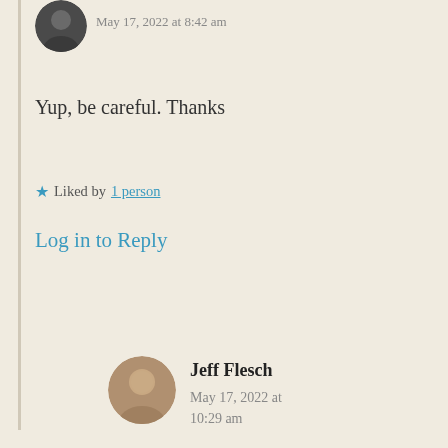May 17, 2022 at 8:42 am
Yup, be careful. Thanks
★ Liked by 1 person
Log in to Reply
Jeff Flesch
May 17, 2022 at 10:29 am
Indeed. Most welcome, Sadje. Always.
★ Liked by 1 person